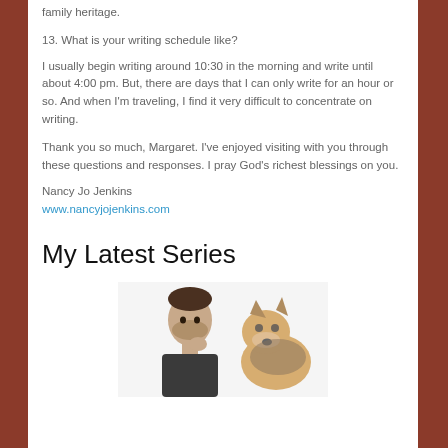family heritage.
13. What is your writing schedule like?
I usually begin writing around 10:30 in the morning and write until about 4:00 pm. But, there are days that I can only write for an hour or so. And when I'm traveling, I find it very difficult to concentrate on writing.
Thank you so much, Margaret. I've enjoyed visiting with you through these questions and responses. I pray God's richest blessings on you.
Nancy Jo Jenkins
www.nancyjojenkins.com
My Latest Series
[Figure (photo): A man and a German Shepherd dog side by side on a white background]